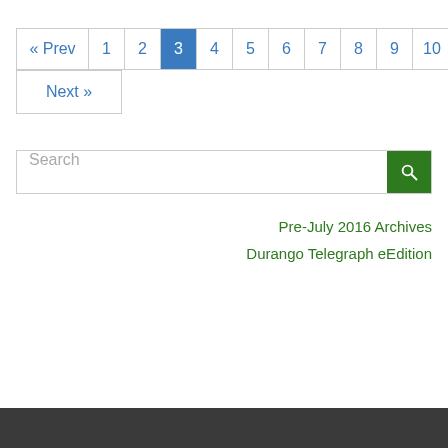« Prev  1  2  3  4  5  6  7  8  9  10  11
Next »
Search
Pre-July 2016 Archives
Durango Telegraph eEdition